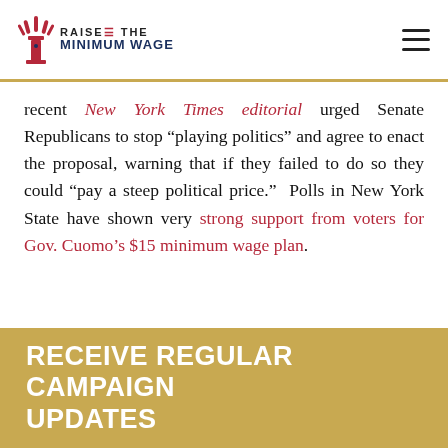RAISE THE MINIMUM WAGE
recent New York Times editorial urged Senate Republicans to stop “playing politics” and agree to enact the proposal, warning that if they failed to do so they could “pay a steep political price.”  Polls in New York State have shown very strong support from voters for Gov. Cuomo’s $15 minimum wage plan.
Share This
RECEIVE REGULAR CAMPAIGN UPDATES